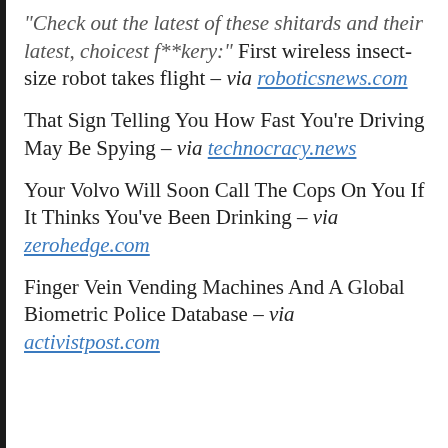“Check out the latest of these shitards and their latest, choicest f**kery:” First wireless insect-size robot takes flight – via roboticsnews.com
That Sign Telling You How Fast You’re Driving May Be Spying – via technocracy.news
Your Volvo Will Soon Call The Cops On You If It Thinks You’ve Been Drinking – via zerohedge.com
Finger Vein Vending Machines And A Global Biometric Police Database – via activistpost.com